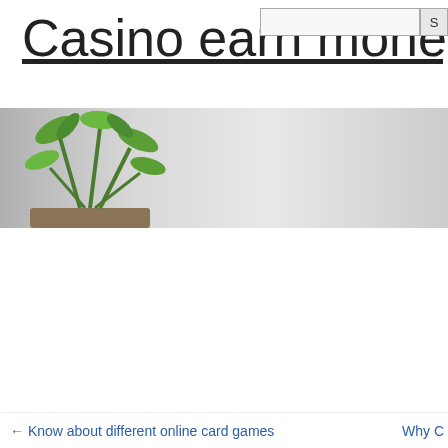Casino earn money
[Figure (photo): Banner image with a green plant on the left and grey gradient background spanning the width of the page]
← Know about different online card games    Why C